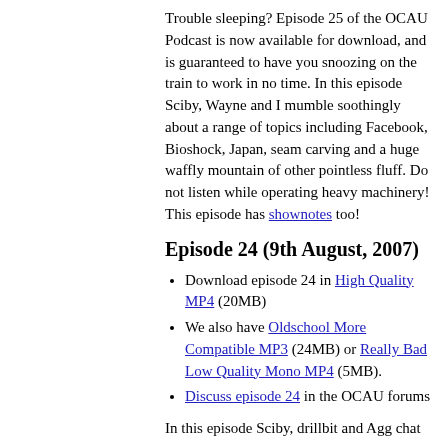Trouble sleeping? Episode 25 of the OCAU Podcast is now available for download, and is guaranteed to have you snoozing on the train to work in no time. In this episode Sciby, Wayne and I mumble soothingly about a range of topics including Facebook, Bioshock, Japan, seam carving and a huge waffly mountain of other pointless fluff. Do not listen while operating heavy machinery! This episode has shownotes too!
Episode 24 (9th August, 2007)
Download episode 24 in High Quality MP4 (20MB)
We also have Oldschool More Compatible MP3 (24MB) or Really Bad Low Quality Mono MP4 (5MB).
Discuss episode 24 in the OCAU forums
In this episode Sciby, drillbit and Agg chat